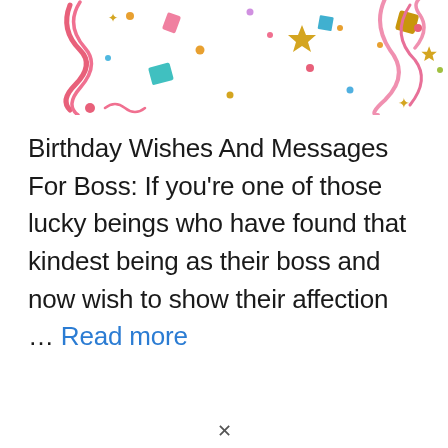[Figure (illustration): Colorful confetti and streamers banner decoration at the top of the page, featuring pink ribbons, gold stars, teal squares, and various confetti pieces on a white background.]
Birthday Wishes And Messages For Boss: If you’re one of those lucky beings who have found that kindest being as their boss and now wish to show their affection … Read more